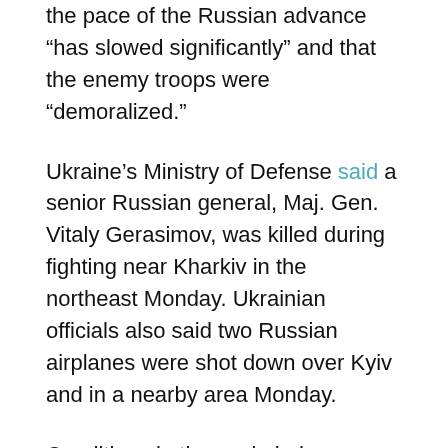the pace of the Russian advance “has slowed significantly” and that the enemy troops were “demoralized.”
Ukraine’s Ministry of Defense said a senior Russian general, Maj. Gen. Vitaly Gerasimov, was killed during fighting near Kharkiv in the northeast Monday. Ukrainian officials also said two Russian airplanes were shot down over Kyiv and in a nearby area Monday.
Conditions in the encircled southeast city of Mariupol, though, were growing increasingly desperate, with nearly half the population, an estimated 200,000 people, hoping to flee.
Russia’s UN Ambassador Vassily Nebenzia forecast a ceasefire for 10 a.m. Moscow time and the opening of humanitarian corridors.
Ukraine officials earlier scorned the safe-corridor proposal as